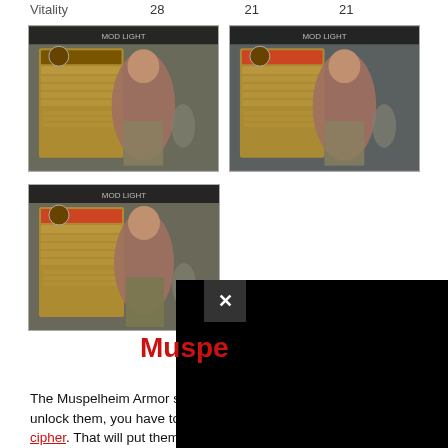Vitality    28    21    21
[Figure (screenshot): God of War game screenshot showing character equipment screen with Kratos]
[Figure (screenshot): God of War game screenshot showing character equipment screen with Kratos]
[Figure (screenshot): God of War game screenshot showing character equipment screen with Kratos]
Muspe
The Muspelheim Armor sets work very much like the Niflheim sets. To unlock them, you have to find the four pieces of the Muspelheim cipher. That will put them in the shop, and you'll